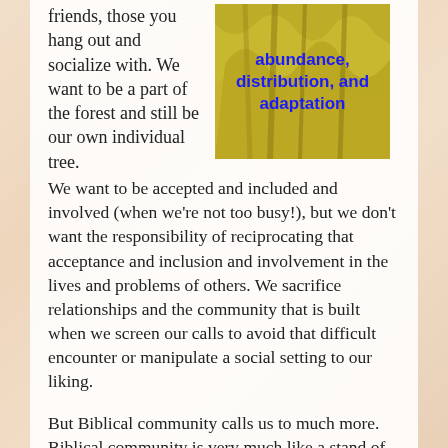friends, those you hang out and socialize with. We want to be a part of the forest and still be our own individual tree.
[Figure (photo): Close-up photo of tree roots or bark with golden/yellow tones, overlaid with bold blue text reading 'abundance, distribution, and adaptation']
We want to be accepted and included and involved (when we're not too busy!), but we don't want the responsibility of reciprocating that acceptance and inclusion and involvement in the lives and problems of others. We sacrifice relationships and the community that is built when we screen our calls to avoid that difficult encounter or manipulate a social setting to our liking.
But Biblical community calls us to much more. Biblical community is very much like a stand of Giant Sequoias. In Biblical community we are each individuals, but our roots are linked and intertwined by choice. We grow together through the mundane, the devastation, and the wearying,